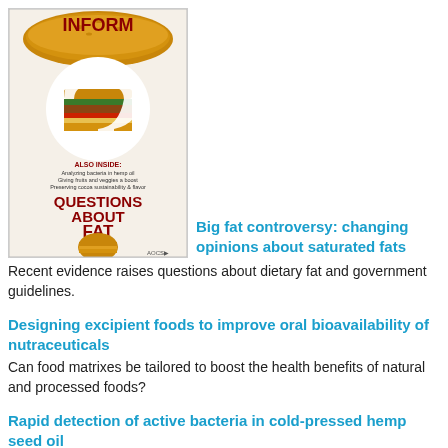[Figure (photo): Magazine cover of INFORM with the text 'QUESTIONS ABOUT FAT' and a question mark composed of burger/food images. Also Inside: Analyzing bacteria in hemp oil, Giving fruits and veggies a boost, Preserving cocoa sustainability & flavor.]
Big fat controversy: changing opinions about saturated fats
Recent evidence raises questions about dietary fat and government guidelines.
Designing excipient foods to improve oral bioavailability of nutraceuticals
Can food matrixes be tailored to boost the health benefits of natural and processed foods?
Rapid detection of active bacteria in cold-pressed hemp seed oil